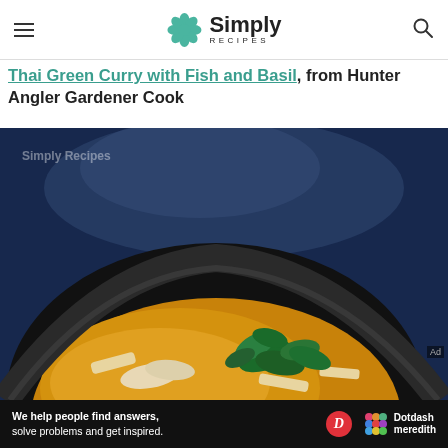Simply Recipes
Thai Green Curry with Fish and Basil, from Hunter Angler Gardener Cook
[Figure (photo): A black bowl filled with golden Thai green curry soup with fish, bamboo shoots, and wilted green basil leaves on a dark blue background]
We help people find answers, solve problems and get inspired. Dotdash meredith